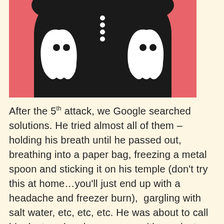[Figure (illustration): Stylized illustration of a human torso on a salmon/coral pink background. The torso is black and shows a ribcage/spine. Inside the chest cavity are two white ghost-shaped figures representing lungs, each with two black dot eyes. The spine is shown as white dots down the center.]
After the 5th attack, we Google searched solutions. He tried almost all of them – holding his breath until he passed out, breathing into a paper bag, freezing a metal spoon and sticking it on his temple (don't try this at home…you'll just end up with a headache and freezer burn),  gargling with salt water, etc, etc, etc. He was about to call his doctor when he came up with one last remedy – swallowing a tablespoon of honey. It